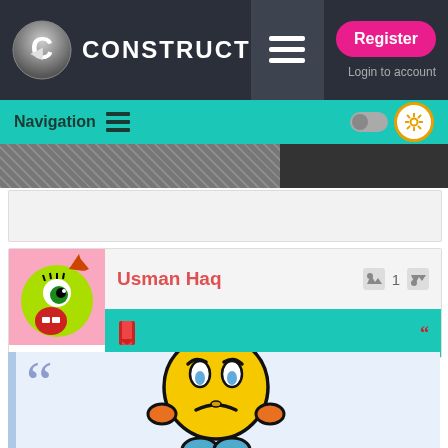CONSTRUCT — Register | Login to account
Navigation
[Figure (screenshot): Dark banner strip with texture pattern]
Usman Haq  👍 1 👎
[Figure (illustration): Yellow sad emoji character with orange arms and blue feet, looking distressed]